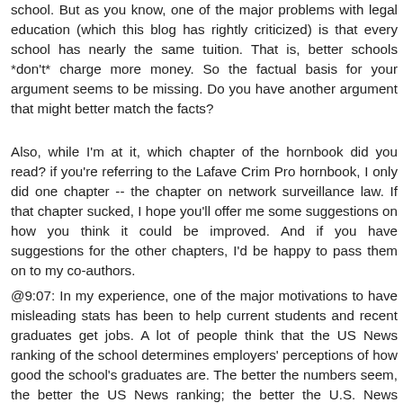school. But as you know, one of the major problems with legal education (which this blog has rightly criticized) is that every school has nearly the same tuition. That is, better schools *don't* charge more money. So the factual basis for your argument seems to be missing. Do you have another argument that might better match the facts?
Also, while I'm at it, which chapter of the hornbook did you read? if you're referring to the Lafave Crim Pro hornbook, I only did one chapter -- the chapter on network surveillance law. If that chapter sucked, I hope you'll offer me some suggestions on how you think it could be improved. And if you have suggestions for the other chapters, I'd be happy to pass them on to my co-authors.
@9:07: In my experience, one of the major motivations to have misleading stats has been to help current students and recent graduates get jobs. A lot of people think that the US News ranking of the school determines employers' perceptions of how good the school's graduates are. The better the numbers seem, the better the US News ranking; the better the U.S. News ranking, the more employers will want to hire them; the more employers will